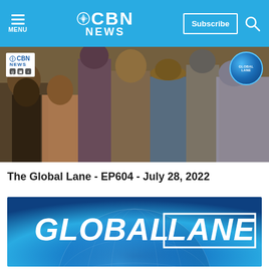CBN NEWS — Navigation bar with Menu, Subscribe button, Search icon
[Figure (photo): Crowd of people walking, with CBN News watermark logo in top-left and Global Lane badge in top-right]
The Global Lane - EP604 - July 28, 2022
[Figure (photo): Global Lane title card with blue globe background and 'GLOBAL LANE' text in white, italic bold font with box around LANE]